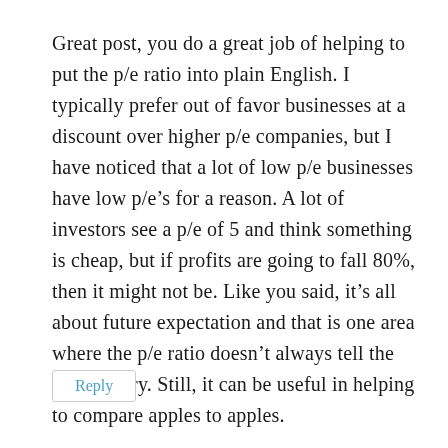Great post, you do a great job of helping to put the p/e ratio into plain English. I typically prefer out of favor businesses at a discount over higher p/e companies, but I have noticed that a lot of low p/e businesses have low p/e’s for a reason. A lot of investors see a p/e of 5 and think something is cheap, but if profits are going to fall 80%, then it might not be. Like you said, it’s all about future expectation and that is one area where the p/e ratio doesn’t always tell the whole story. Still, it can be useful in helping to compare apples to apples.
Reply